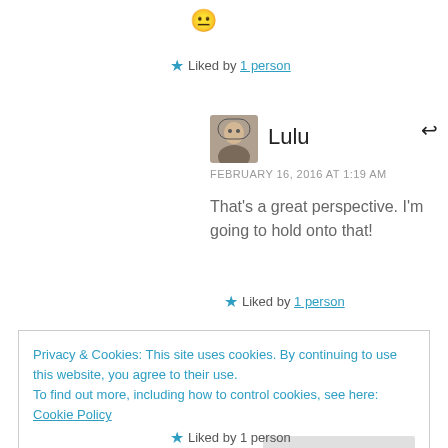[Figure (illustration): Yellow neutral face emoji]
★ Liked by 1 person
[Figure (photo): Small square profile photo of a person wearing glasses]
Lulu
FEBRUARY 16, 2016 AT 1:19 AM
That's a great perspective. I'm going to hold onto that!
★ Liked by 1 person
Privacy & Cookies: This site uses cookies. By continuing to use this website, you agree to their use.
To find out more, including how to control cookies, see here: Cookie Policy
Close and accept
★ Liked by 1 person